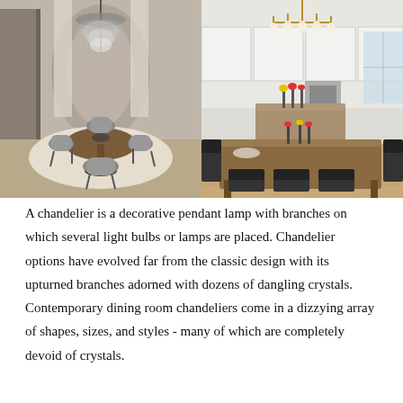[Figure (photo): Two side-by-side interior photos. Left: a modern dining room with a dark circular crystal chandelier hanging over a round wooden pedestal table surrounded by gray curved chairs, on a white marble-pattern rug. Right: a bright kitchen/dining area with a traditional gold-and-glass chandelier hanging over a rectangular wooden dining table with black chairs, white cabinetry and a kitchen island with flowers in the background.]
A chandelier is a decorative pendant lamp with branches on which several light bulbs or lamps are placed. Chandelier options have evolved far from the classic design with its upturned branches adorned with dozens of dangling crystals. Contemporary dining room chandeliers come in a dizzying array of shapes, sizes, and styles - many of which are completely devoid of crystals.